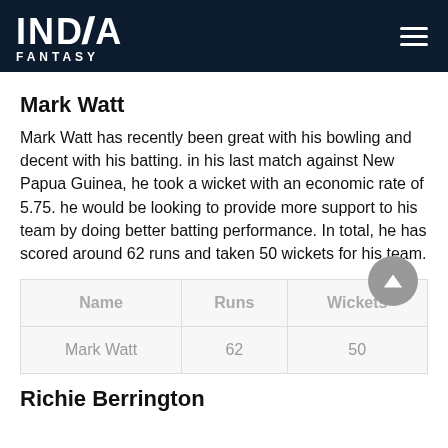INDIA FANTASY
Mark Watt
Mark Watt has recently been great with his bowling and decent with his batting. in his last match against New Papua Guinea, he took a wicket with an economic rate of 5.75. he would be looking to provide more support to his team by doing better batting performance. In total, he has scored around 62 runs and taken 50 wickets for his team.
| Name | Runs | Wickets |
| --- | --- | --- |
| Mark Watt | 62 | 50 |
Richie Berrington